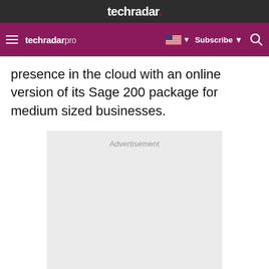techradar.
techradar pro  Subscribe
presence in the cloud with an online version of its Sage 200 package for medium sized businesses.
[Figure (other): Advertisement placeholder box with light gray background and 'Advertisement' label at top center]